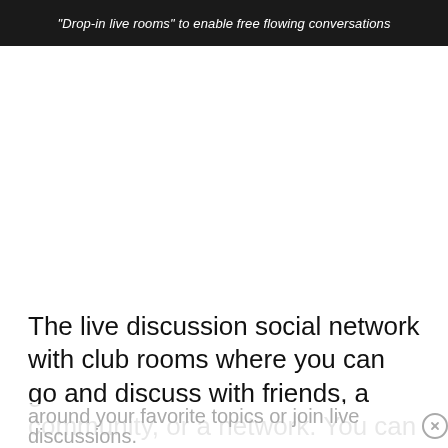"Drop-in live rooms" to enable free flowing conversations
[Figure (screenshot): Large white/blank area representing a screenshot or image section of an app or presentation]
The live discussion social network with club rooms where you can go and discuss with friends, a community, or a network. You can also start clubs around your favorite topics or join live discussions.